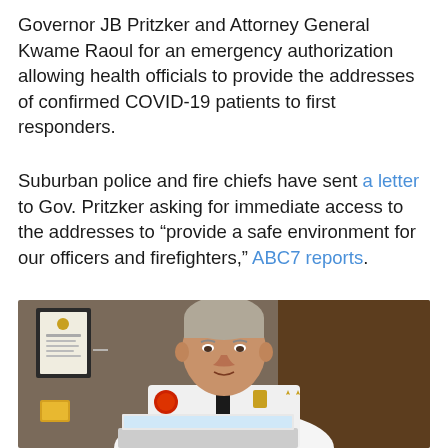Governor JB Pritzker and Attorney General Kwame Raoul for an emergency authorization allowing health officials to provide the addresses of confirmed COVID-19 patients to first responders.
Suburban police and fire chiefs have sent a letter to Gov. Pritzker asking for immediate access to the addresses to "provide a safe environment for our officers and firefighters," ABC7 reports.
[Figure (photo): A man in a white fire chief or police uniform with black tie and gold badge/pin sits at a desk with a laptop open in front of him. He appears to be speaking. Behind him is a framed certificate and dark wood paneling on the wall.]